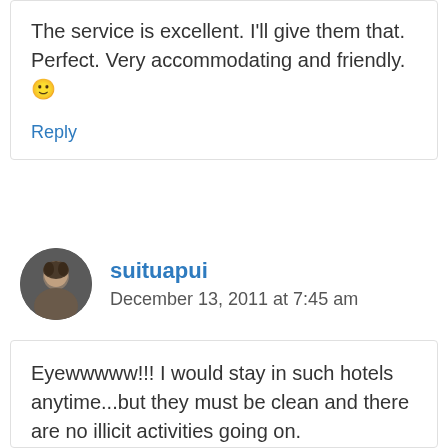The service is excellent. I'll give them that. Perfect. Very accommodating and friendly. 🙂
Reply
suituapui
December 13, 2011 at 7:45 am
Eyewwwww!!! I would stay in such hotels anytime...but they must be clean and there are no illicit activities going on. Cheaper...and most of the time, it's just some place to go back, bathe and sleep...